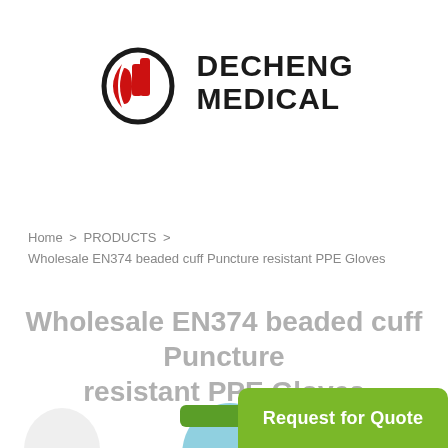[Figure (logo): Decheng Medical logo: red oval with stylized 'dc' letter mark and bold black text 'DECHENG MEDICAL']
Home > PRODUCTS > Wholesale EN374 beaded cuff Puncture resistant PPE Gloves
Wholesale EN374 beaded cuff Puncture resistant PPE Gloves
[Figure (photo): Partial view of light blue medical/PPE gloves at bottom of page]
Request for Quote